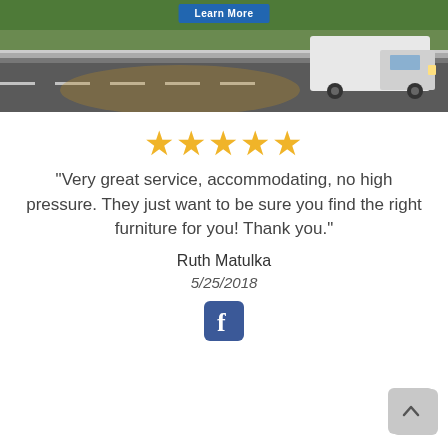[Figure (photo): Hero banner image showing a white delivery truck driving on a highway road with green grass and guardrail. A blue 'Learn More' button is visible at the top center.]
[Figure (other): Five gold/yellow star rating icons displayed in a row.]
"Very great service, accommodating, no high pressure. They just want to be sure you find the right furniture for you! Thank you."
Ruth Matulka
5/25/2018
[Figure (logo): Facebook logo icon — white 'f' on blue square background.]